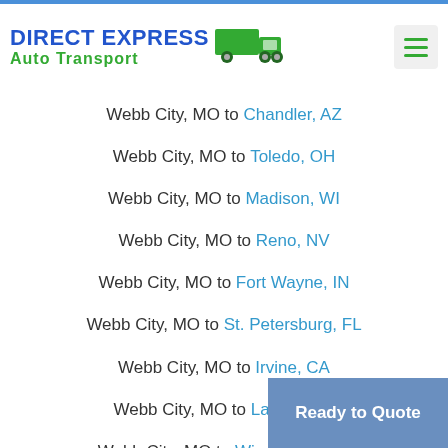DIRECT EXPRESS Auto Transport
Webb City, MO to Chandler, AZ
Webb City, MO to Toledo, OH
Webb City, MO to Madison, WI
Webb City, MO to Reno, NV
Webb City, MO to Fort Wayne, IN
Webb City, MO to St. Petersburg, FL
Webb City, MO to Irvine, CA
Webb City, MO to Laredo, TX
Webb City, MO to Winston-Salem
Webb City, MO to Chesapeake, VA